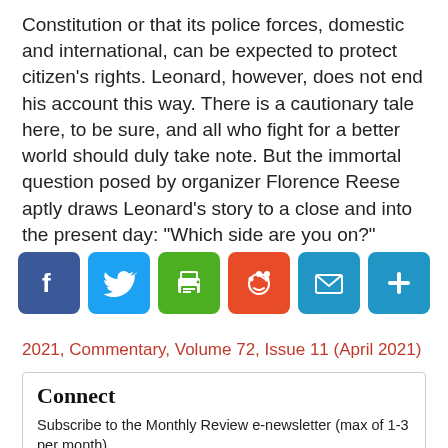Constitution or that its police forces, domestic and international, can be expected to protect citizen's rights. Leonard, however, does not end his account this way. There is a cautionary tale here, to be sure, and all who fight for a better world should duly take note. But the immortal question posed by organizer Florence Reese aptly draws Leonard’s story to a close and into the present day: “Which side are you on?”
[Figure (infographic): Social share buttons row: Facebook (blue), Twitter (light blue), Print (green), Reddit (orange-red), Email (blue), Share/More (blue)]
2021, Commentary, Volume 72, Issue 11 (April 2021)
Connect
Subscribe to the Monthly Review e-newsletter (max of 1-3 per month).
E-mail  SUBMIT